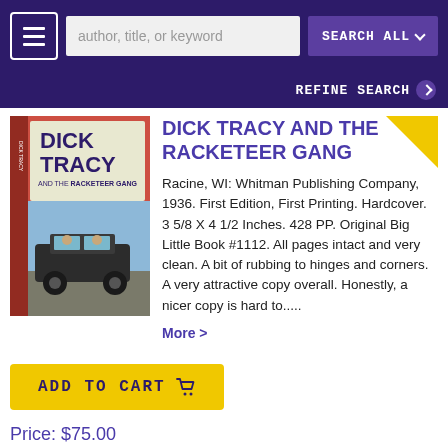author, title, or keyword  SEARCH ALL  REFINE SEARCH
DICK TRACY AND THE RACKETEER GANG
[Figure (photo): Book cover of Dick Tracy and the Racketeer Gang, a Big Little Book with red spine, showing Dick Tracy and the Racketeer Gang title and an illustration of characters in a car]
Racine, WI: Whitman Publishing Company, 1936. First Edition, First Printing. Hardcover. 3 5/8 X 4 1/2 Inches. 428 PP. Original Big Little Book #1112. All pages intact and very clean. A bit of rubbing to hinges and corners. A very attractive copy overall. Honestly, a nicer copy is hard to.....
More >
ADD TO CART
Price: $75.00
Item Details
Ask a Question